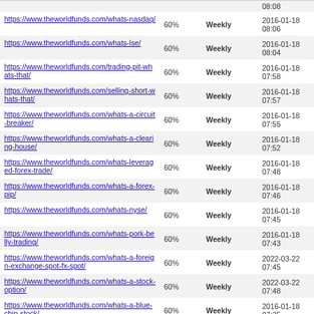| URL | Priority | Change Frequency | Last Modified |
| --- | --- | --- | --- |
| https://www.theworldfunds.com/whats-nasdaq/ | 60% | Weekly | 2016-01-18 08:06 |
| https://www.theworldfunds.com/whats-lse/ | 60% | Weekly | 2016-01-18 08:04 |
| https://www.theworldfunds.com/trading-pit-whats-that/ | 60% | Weekly | 2016-01-18 07:58 |
| https://www.theworldfunds.com/selling-short-whats-that/ | 60% | Weekly | 2016-01-18 07:57 |
| https://www.theworldfunds.com/whats-a-circuit-breaker/ | 60% | Weekly | 2016-01-18 07:55 |
| https://www.theworldfunds.com/whats-a-clearing-house/ | 60% | Weekly | 2016-01-18 07:52 |
| https://www.theworldfunds.com/whats-leveraged-forex-trade/ | 60% | Weekly | 2016-01-18 07:48 |
| https://www.theworldfunds.com/whats-a-forex-pip/ | 60% | Weekly | 2016-01-18 07:46 |
| https://www.theworldfunds.com/whats-nyse/ | 60% | Weekly | 2016-01-18 07:45 |
| https://www.theworldfunds.com/whats-pork-belly-trading/ | 60% | Weekly | 2016-01-18 07:43 |
| https://www.theworldfunds.com/whats-a-foreign-exchange-spot-fx-spot/ | 60% | Weekly | 2022-03-22 07:45 |
| https://www.theworldfunds.com/whats-a-stock-option/ | 60% | Weekly | 2022-03-22 07:48 |
| https://www.theworldfunds.com/whats-a-blue-chip-stock/ | 60% | Weekly | 2016-01-18 07:35 |
| https://www.theworldfunds.com/whats-dividend-stock/ | 60% | Weekly | 2016-01-18 07:32 |
| https://www.theworldfunds.com/whats-a-binary-option/ | 60% | Weekly | 2016-11-28 04:20 |
| https://www.theworldfunds.com/whats-red-... | 60% | Weekly | 2016-01-18 07:?? |